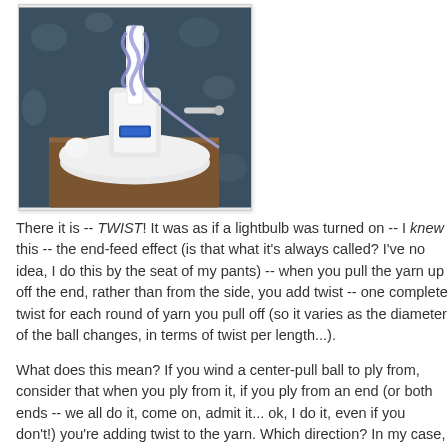[Figure (photo): A yarn ball winder device on a wooden surface, with blue/purple yarn wrapped around the cone, set against a floral patterned background.]
There it is -- TWIST! It was as if a lightbulb was turned on -- I knew this -- the end-feed effect (is that what it's always called? I've no idea, I do this by the seat of my pants) -- when you pull the yarn up off the end, rather than from the side, you add twist -- one complete twist for each round of yarn you pull off (so it varies as the diameter of the ball changes, in terms of twist per length...).
What does this mean? If you wind a center-pull ball to ply from, consider that when you ply from it, if you ply from an end (or both ends -- we all do it, come on, admit it... ok, I do it, even if you don't!) you're adding twist to the yarn. Which direction? In my case, I wound the ball clockwise, and the